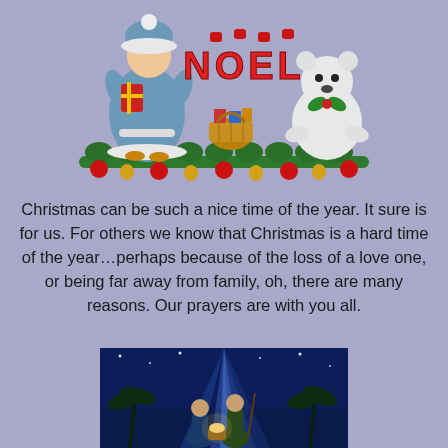[Figure (illustration): Christmas illustration with a girl in a blue dress and hat holding gifts, NOEL letters in red, a white polar bear with a green bow, a gift basket, green garland with red ornaments and gold bells across the bottom]
Christmas can be such a nice time of the year.  It sure is for us.  For others we know that Christmas is a hard time of the year...perhaps because of the loss of a love one, or being far away from family, oh, there are many reasons.  Our prayers are with you all.
[Figure (photo): Blue-toned nativity scene image with rays of light, palm trees silhouettes, and nativity figures in the foreground]